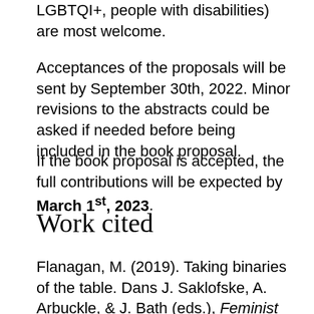LGBTQI+, people with disabilities) are most welcome.
Acceptances of the proposals will be sent by September 30th, 2022. Minor revisions to the abstracts could be asked if needed before being included in the book proposal.
If the book proposal is accepted, the full contributions will be expected by March 1st, 2023.
Work cited
Flanagan, M. (2019). Taking binaries of the table. Dans J. Saklofske, A. Arbuckle, & J. Bath (eds.), Feminist War Games? Mechanisms of war,